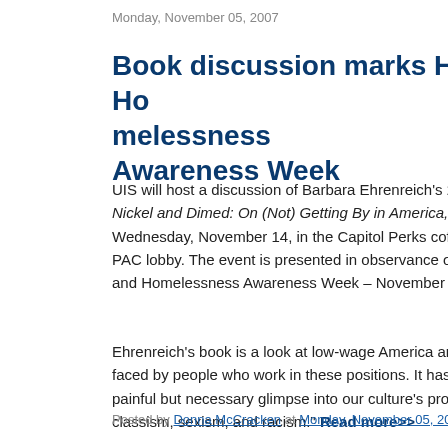Monday, November 05, 2007
Book discussion marks Hunger and Homelessness Awareness Week
UIS will host a discussion of Barbara Ehrenreich's 2001 book, Nickel and Dimed: On (Not) Getting By in America, at 6: Wednesday, November 14, in the Capitol Perks coffee PAC lobby. The event is presented in observance of National Hunger and Homelessness Awareness Week – November 11 th...
Ehrenreich's book is a look at low-wage America and the challenges faced by people who work in these positions. It has been called a painful but necessary glimpse into our culture's proclivity for classism, sexism, and racism." Read more>>
Posted by Donna McCracken at Monday, November 05, 2007   No...